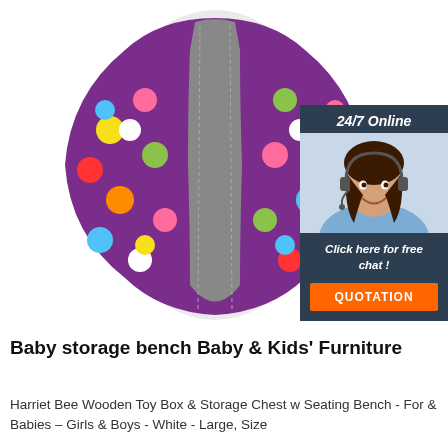[Figure (photo): Product photo of a reusable cloth pad with purple polka-dot fabric and grey bamboo charcoal center strip, placed on white background. In the upper right corner there is a '24/7 Online' chat widget with a photo of a woman wearing a headset, and buttons 'Click here for free chat!' and 'QUOTATION'.]
Baby storage bench Baby & Kids' Furniture
Harriet Bee Wooden Toy Box & Storage Chest w Seating Bench - For & Babies – Girls & Boys - White - Large, Size